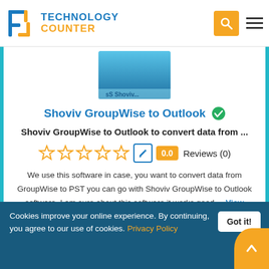Technology Counter
[Figure (screenshot): Shoviv GroupWise to Outlook software product box image]
Shoviv GroupWise to Outlook
Shoviv GroupWise to Outlook to convert data from ...
0.0 Reviews (0)
We use this software in case, you want to convert data from GroupWise to PST you can go with Shoviv GroupWise to Outlook software. I am sure about this software it works good....View Profile
Cookies improve your online experience. By continuing, you agree to our use of cookies. Privacy Policy